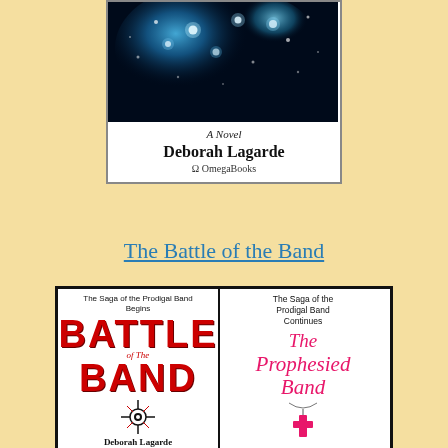[Figure (photo): Book cover showing a starry night sky with blue glowing stars, the text 'A Novel', author 'Deborah Lagarde', and publisher 'Omega OmegaBooks']
The Battle of the Band
[Figure (photo): Two book covers side by side: 'Battle of the Band - The Saga of the Prodigal Band Begins' by Deborah Lagarde (left) and 'The Prophesied Band - The Saga of the Prodigal Band Continues, A Novel' by Deborah Lagarde (right)]